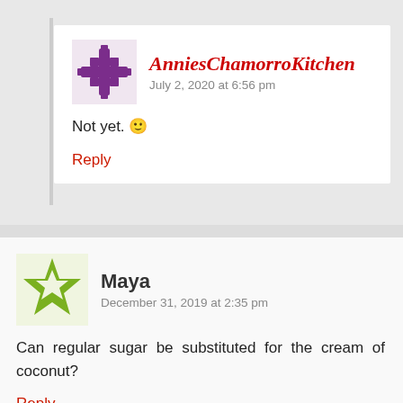AnniesChamorroKitchen
July 2, 2020 at 6:56 pm
Not yet. 🙂
Reply
Maya
December 31, 2019 at 2:35 pm
Can regular sugar be substituted for the cream of coconut?
Reply